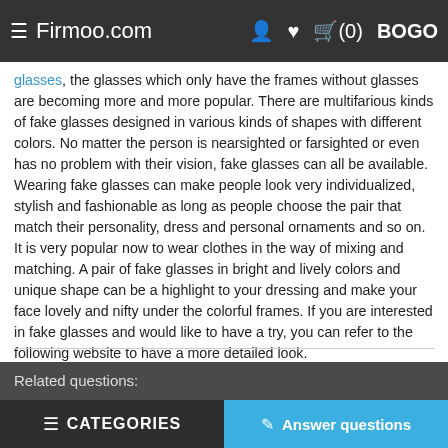Firmoo.com
glasses, the glasses which only have the frames without glasses are becoming more and more popular. There are multifarious kinds of fake glasses designed in various kinds of shapes with different colors. No matter the person is nearsighted or farsighted or even has no problem with their vision, fake glasses can all be available. Wearing fake glasses can make people look very individualized, stylish and fashionable as long as people choose the pair that match their personality, dress and personal ornaments and so on. It is very popular now to wear clothes in the way of mixing and matching. A pair of fake glasses in bright and lively colors and unique shape can be a highlight to your dressing and make your face lovely and nifty under the colorful frames. If you are interested in fake glasses and would like to have a try, you can refer to the following website to have a more detailed look.
Faith | 04/18/2013   Report Abuse
Helpful(0)
Related questions: